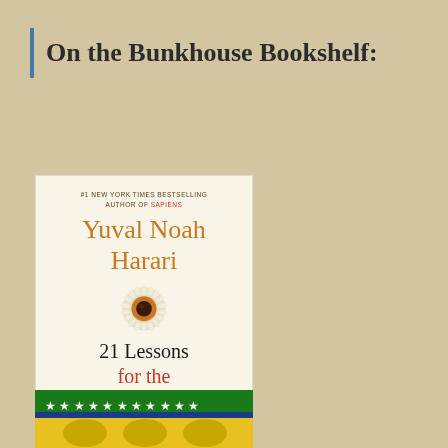On the Bunkhouse Bookshelf:
[Figure (photo): Book cover of '21 Lessons for the 21st Century' by Yuval Noah Harari. Cream/white background with author name in orange, book title in black and red, and a circular eye/sunflower image in the center. Top text reads '#1 New York Times Bestselling Author of Sapiens'.]
[Figure (photo): Partial view of a second book cover with green and yellow colors, appearing to show stars or decorative elements at the top.]